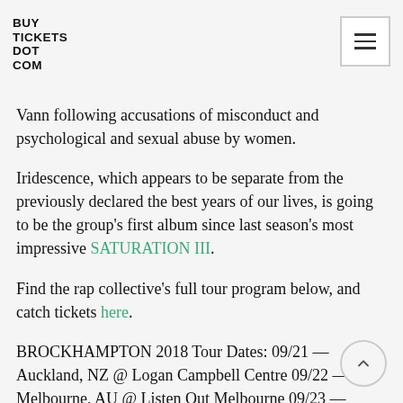BUY TICKETS DOT COM
Vann following accusations of misconduct and psychological and sexual abuse by women.
Iridescence, which appears to be separate from the previously declared the best years of our lives, is going to be the group's first album since last season's most impressive SATURATION III.
Find the rap collective's full tour program below, and catch tickets here.
BROCKHAMPTON 2018 Tour Dates: 09/21 — Auckland, NZ @ Logan Campbell Centre 09/22 — Melbourne, AU @ Listen Out Melbourne 09/23 — Perth, AU @ Listen Out Perth 09/25 — Melbourne, AU @ The Forum 09/26 — Sydney, AU @ Enmore Theatre 09/29 — Sydney, AU @ Listen Out Sydney 09/30 — Brisbane, AU @